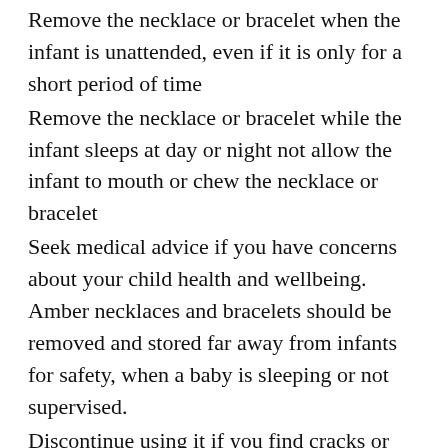Remove the necklace or bracelet when the infant is unattended, even if it is only for a short period of time
Remove the necklace or bracelet while the infant sleeps at day or night not allow the infant to mouth or chew the necklace or bracelet
Seek medical advice if you have concerns about your child health and wellbeing. Amber necklaces and bracelets should be removed and stored far away from infants for safety, when a baby is sleeping or not supervised.
Discontinue using it if you find cracks or damage.
Care: